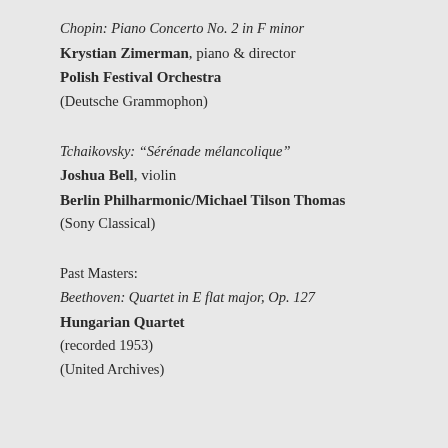Chopin: Piano Concerto No. 2 in F minor
Krystian Zimerman, piano & director
Polish Festival Orchestra
(Deutsche Grammophon)
Tchaikovsky: “Sérénade mélancolique”
Joshua Bell, violin
Berlin Philharmonic/Michael Tilson Thomas
(Sony Classical)
Past Masters:
Beethoven: Quartet in E flat major, Op. 127
Hungarian Quartet
(recorded 1953)
(United Archives)